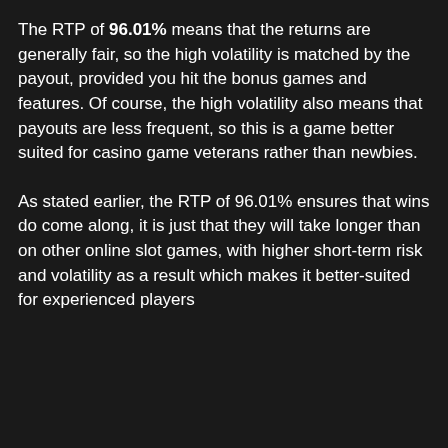The RTP of 96.01% means that the returns are generally fair, so the high volatility is matched by the payout, provided you hit the bonus games and features. Of course, the high volatility also means that payouts are less frequent, so this is a game better suited for casino game veterans rather than newbies.
As stated earlier, the RTP of 96.01% ensures that wins do come along, it is just that they will take longer than on other online slot games, with higher short-term risk and volatility as a result which makes it better-suited for experienced players